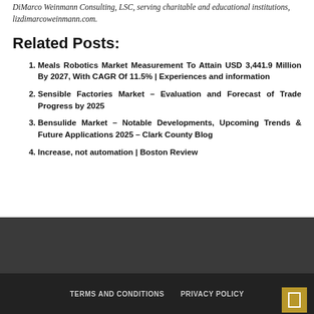DiMarco Weinmann Consulting, LSC, serving charitable and educational institutions, lizdimarcoweinmann.com.
Related Posts:
Meals Robotics Market Measurement To Attain USD 3,441.9 Million By 2027, With CAGR Of 11.5% | Experiences and information
Sensible Factories Market – Evaluation and Forecast of Trade Progress by 2025
Bensulide Market – Notable Developments, Upcoming Trends & Future Applications 2025 – Clark County Blog
Increase, not automation | Boston Review
TERMS AND CONDITIONS   PRIVACY POLICY